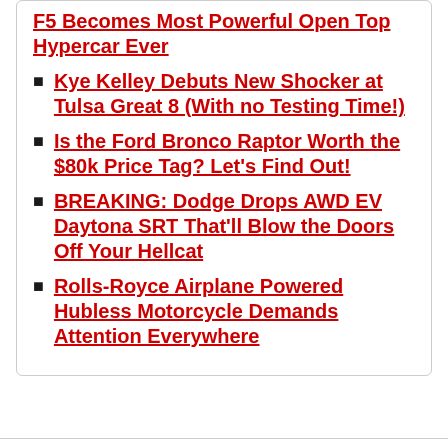F5 Becomes Most Powerful Open Top Hypercar Ever
Kye Kelley Debuts New Shocker at Tulsa Great 8 (With no Testing Time!)
Is the Ford Bronco Raptor Worth the $80k Price Tag? Let's Find Out!
BREAKING: Dodge Drops AWD EV Daytona SRT That'll Blow the Doors Off Your Hellcat
Rolls-Royce Airplane Powered Hubless Motorcycle Demands Attention Everywhere